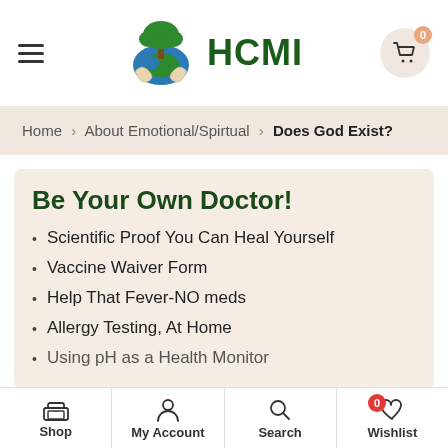[Figure (logo): HCMI logo with tree on globe and hands, green text HCMI]
Home > About Emotional/Spirtual > Does God Exist?
Be Your Own Doctor!
Scientific Proof You Can Heal Yourself
Vaccine Waiver Form
Help That Fever-NO meds
Allergy Testing, At Home
Using pH as a Health Monitor
Shop   My Account   Search   Wishlist